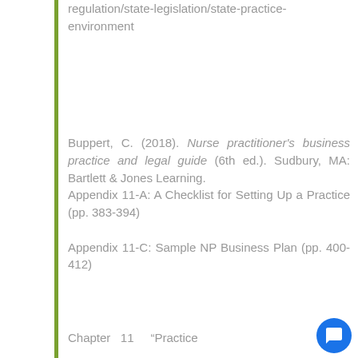regulation/state-legislation/state-practice-environment
Buppert, C. (2018). Nurse practitioner's business practice and legal guide (6th ed.). Sudbury, MA: Bartlett & Jones Learning.
Appendix 11-A: A Checklist for Setting Up a Practice (pp. 383-394)
Appendix 11-C: Sample NP Business Plan (pp. 400-412)
Chapter  11  “Practice